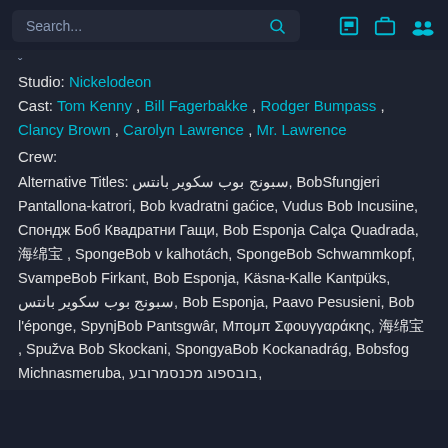Search...
Studio: Nickelodeon
Cast: Tom Kenny , Bill Fagerbakke , Rodger Bumpass , Clancy Brown , Carolyn Lawrence , Mr. Lawrence
Crew:
Alternative Titles: سبونج بوب سكوير بانتس, BobSfungjeri Pantallona-katrori, Bob kvadratni gaćice, Vudus Bob Incusiine, Спондж Боб Квадратни Гащи, Bob Esponja Calça Quadrada, , SpongeBob v kalhotách, SpongeBob Schwammkopf, SvampeBob Firkant, Bob Esponja, Käsna-Kalle Kantpüks, سبونج بوب سكوير بانتس, Bob Esponja, Paavo Pesusieni, Bob l'éponge, SpynjBob Pantsgwâr, Μπομπ Σφουγγαράκης, , Spužva Bob Skockani, SpongyaBob Kockanadrág, Bobsfog Michnasmeruba, בובספוג מכנסמרובע,